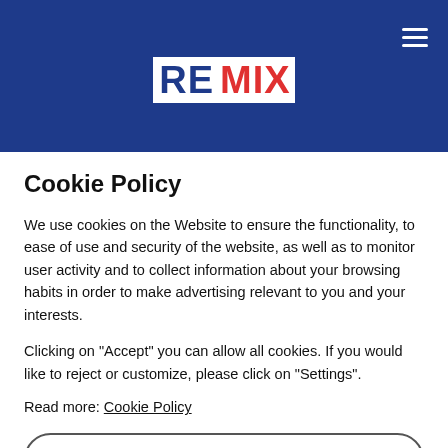[Figure (logo): REMIX news logo with RE in white on dark blue background and MIX in red on white background]
German police: Syrian migrant hits and kills 8-year-old boy with
Cookie Policy
We use cookies on the Website to ensure the functionality, to ease of use and security of the website, as well as to monitor user activity and to collect information about your browsing habits in order to make advertising relevant to you and your interests.
Clicking on "Accept" you can allow all cookies. If you would like to reject or customize, please click on "Settings".
Read more: Cookie Policy
SETTINGS
ACCEPT